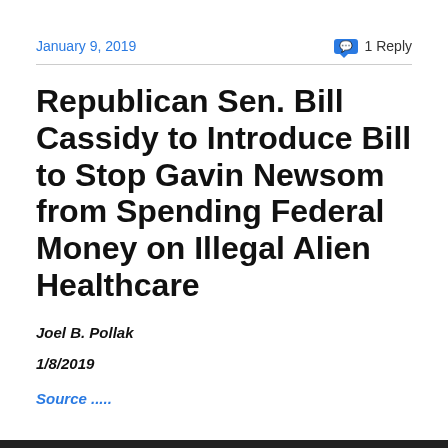January 9, 2019   💬 1 Reply
Republican Sen. Bill Cassidy to Introduce Bill to Stop Gavin Newsom from Spending Federal Money on Illegal Alien Healthcare
Joel B. Pollak
1/8/2019
Source .....